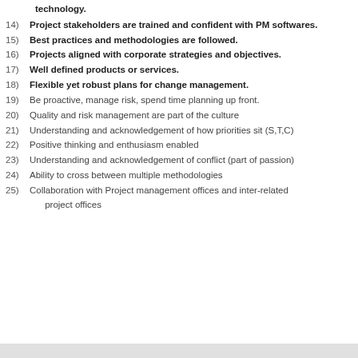technology.
14) Project stakeholders are trained and confident with PM softwares.
15) Best practices and methodologies are followed.
16) Projects aligned with corporate strategies and objectives.
17) Well defined products or services.
18) Flexible yet robust plans for change management.
19) Be proactive, manage risk, spend time planning up front.
20) Quality and risk management are part of the culture
21) Understanding and acknowledgement of how priorities sit (S,T,C)
22) Positive thinking and enthusiasm enabled
23) Understanding and acknowledgement of conflict (part of passion)
24) Ability to cross between multiple methodologies
25) Collaboration with Project management offices and inter-related project offices